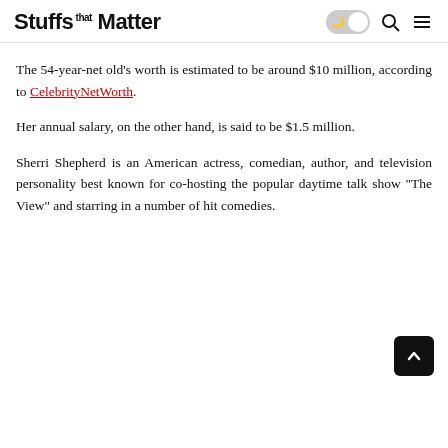Stuffs that Matter
The 54-year-net old's worth is estimated to be around $10 million, according to CelebrityNetWorth.
Her annual salary, on the other hand, is said to be $1.5 million.
Sherri Shepherd is an American actress, comedian, author, and television personality best known for co-hosting the popular daytime talk show "The View" and starring in a number of hit comedies.